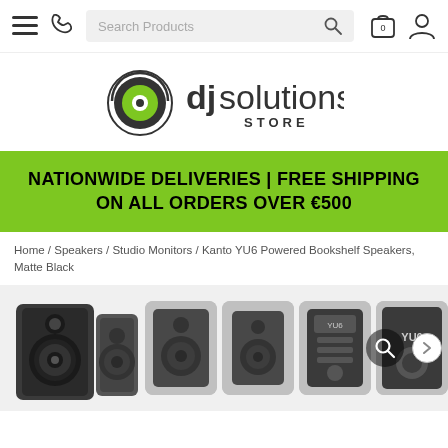Navigation bar with menu, phone, search, cart, and account icons
[Figure (logo): DJ Solutions Store logo — headphone icon with green eye detail, text 'djsolutions STORE']
NATIONWIDE DELIVERIES | FREE SHIPPING ON ALL ORDERS OVER €500
Home / Speakers / Studio Monitors / Kanto YU6 Powered Bookshelf Speakers, Matte Black
[Figure (photo): Product image strip showing Kanto YU6 Powered Bookshelf Speakers in Matte Black from multiple angles, with zoom icon and next arrow]